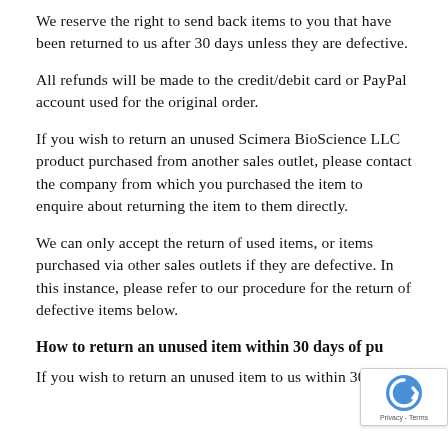We reserve the right to send back items to you that have been returned to us after 30 days unless they are defective.
All refunds will be made to the credit/debit card or PayPal account used for the original order.
If you wish to return an unused Scimera BioScience LLC product purchased from another sales outlet, please contact the company from which you purchased the item to enquire about returning the item to them directly.
We can only accept the return of used items, or items purchased via other sales outlets if they are defective. In this instance, please refer to our procedure for the return of defective items below.
How to return an unused item within 30 days of pu
If you wish to return an unused item to us within 30